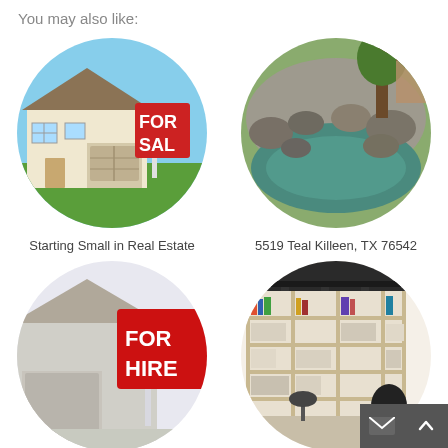You may also like:
[Figure (photo): Circular photo of a house with a FOR SALE sign in front yard]
[Figure (photo): Circular photo of a garden pond with rocks and trees]
Starting Small in Real Estate
5519 Teal Killeen, TX 76542
[Figure (photo): Circular photo of a house with a FOR HIRE sign]
[Figure (photo): Circular photo of a modern office interior with bookshelves and a person]